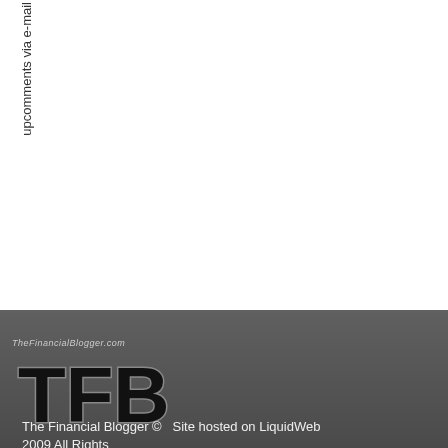upcomments via e-mail
[Figure (logo): TheFinancialBlogger.com logo with TFB monogram in bold stylized text on dark background]
The Financial Blogger © Site hosted on LiquidWeb 2009 All Rights